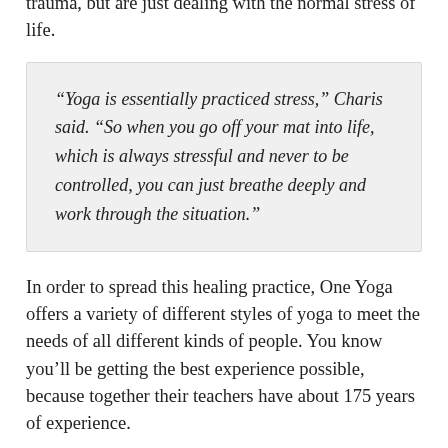Yoga is healing even for those who have not experienced trauma, but are just dealing with the normal stress of life.
“Yoga is essentially practiced stress,” Charis said. “So when you go off your mat into life, which is always stressful and never to be controlled, you can just breathe deeply and work through the situation.”
In order to spread this healing practice, One Yoga offers a variety of different styles of yoga to meet the needs of all different kinds of people. You know you’ll be getting the best experience possible, because together their teachers have about 175 years of experience.
For those of you who are interested but have never tried yoga, Charis and Phillips have some straightforward advice: